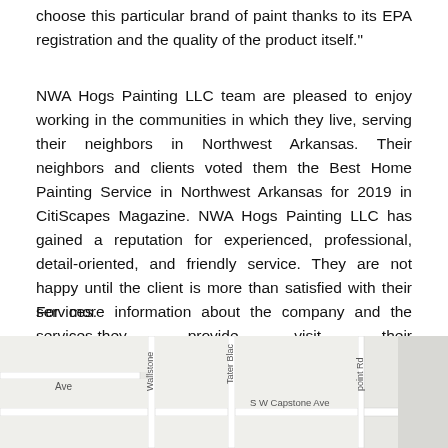choose this particular brand of paint thanks to its EPA registration and the quality of the product itself."
NWA Hogs Painting LLC team are pleased to enjoy working in the communities in which they live, serving their neighbors in Northwest Arkansas. Their neighbors and clients voted them the Best Home Painting Service in Northwest Arkansas for 2019 in CitiScapes Magazine. NWA Hogs Painting LLC has gained a reputation for experienced, professional, detail-oriented, and friendly service. They are not happy until the client is more than satisfied with their services.
For more information about the company and the services they provide, visit their website at https://www.nwahogspainting.com/
[Figure (map): Street map snippet showing Ave, Wallstone, Tater Blac, S W Capstone Ave, point Rd labels on a light grey road map background.]